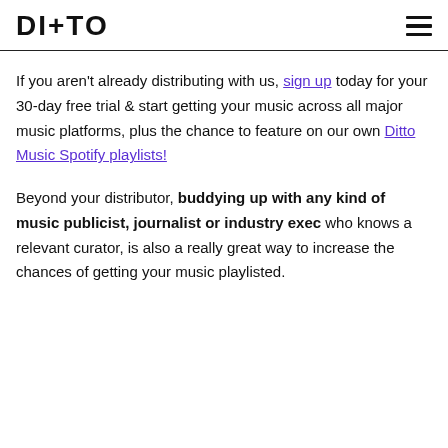DITTO
If you aren't already distributing with us, sign up today for your 30-day free trial & start getting your music across all major music platforms, plus the chance to feature on our own Ditto Music Spotify playlists!
Beyond your distributor, buddying up with any kind of music publicist, journalist or industry exec who knows a relevant curator, is also a really great way to increase the chances of getting your music playlisted.
Plus, it's the music industry. Never hurts to have a